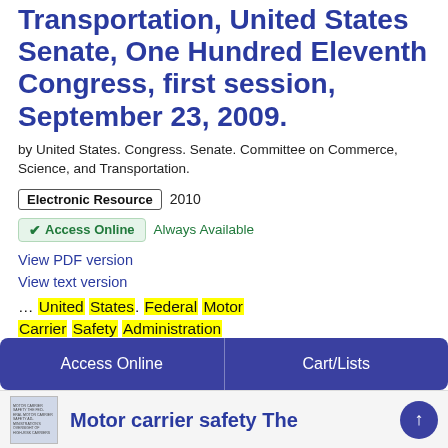Transportation, United States Senate, One Hundred Eleventh Congress, first session, September 23, 2009.
by United States. Congress. Senate. Committee on Commerce, Science, and Transportation.
Electronic Resource  2010
✓ Access Online  Always Available
View PDF version
View text version
... United States. Federal Motor Carrier Safety Administration Officials and employees Selection and
...
Access Online    Cart/Lists
Motor carrier safety The